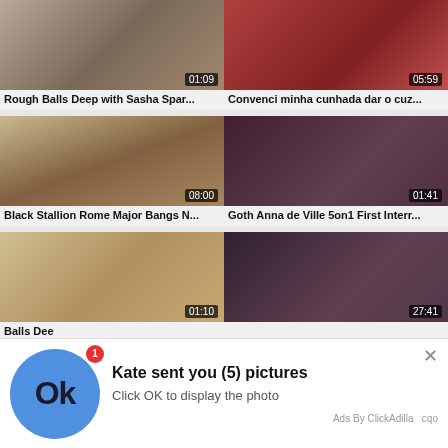[Figure (screenshot): Video thumbnail grid showing adult content website with thumbnails and duration badges]
Rough Balls Deep with Sasha Spar...
Convenci minha cunhada dar o cuz...
[Figure (screenshot): Second row of video thumbnails]
Black Stallion Rome Major Bangs N...
Goth Anna de Ville 5on1 First Interr...
[Figure (screenshot): Third row of video thumbnails]
Balls Dee
[Figure (screenshot): Ad overlay: Kate sent you (5) pictures - Click OK to display the photo. Ads By ClickAdilla cqo]